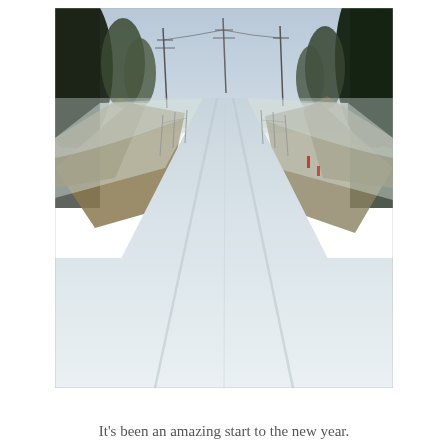[Figure (photo): A snow-covered rural road stretching into the distance. The road is blanketed in white snow with faint tire tracks visible. On both sides are trees, utility poles, and snow-covered fields under an overcast gray sky.]
It's been an amazing start to the new year.